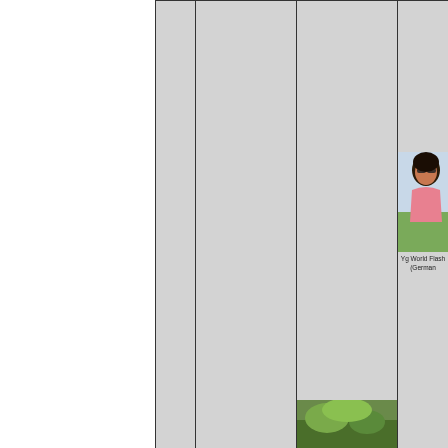[Figure (photo): Partial view of a person, likely a woman, wearing sunglasses and pink clothing, cropped at the right edge of the page. Below the photo is text reading 'Yg World Flash (German']
Yg World Flash (German
[Figure (photo): Partial green landscape or outdoor photo visible at the bottom right of the page, cropped]